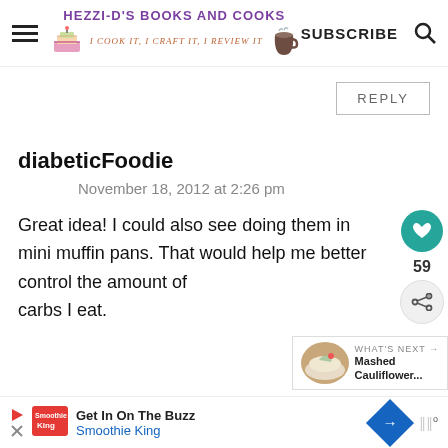HEZZI-D'S BOOKS AND COOKS | I COOK IT, I CRAFT IT, I REVIEW IT | SUBSCRIBE
REPLY
diabeticFoodie
November 18, 2012 at 2:26 pm
Great idea! I could also see doing them in mini muffin pans. That would help me better control the amount of carbs I eat.
59
[Figure (other): What's Next panel with food thumbnail: Mashed Cauliflower...]
Get In On The Buzz
Smoothie King